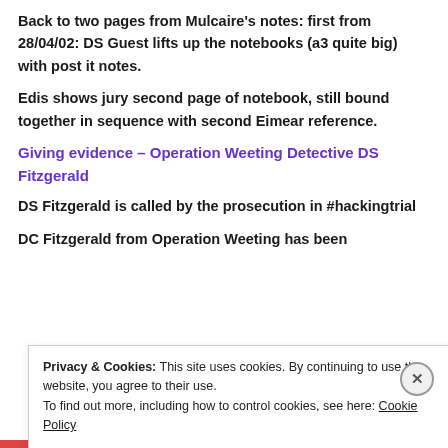Back to two pages from Mulcaire's notes: first from 28/04/02: DS Guest lifts up the notebooks (a3 quite big) with post it notes.
Edis shows jury second page of notebook, still bound together in sequence with second Eimear reference.
Giving evidence – Operation Weeting Detective DS Fitzgerald
DS Fitzgerald is called by the prosecution in #hackingtrial
DC Fitzgerald from Operation Weeting has been
Privacy & Cookies: This site uses cookies. By continuing to use this website, you agree to their use.
To find out more, including how to control cookies, see here: Cookie Policy
Close and accept